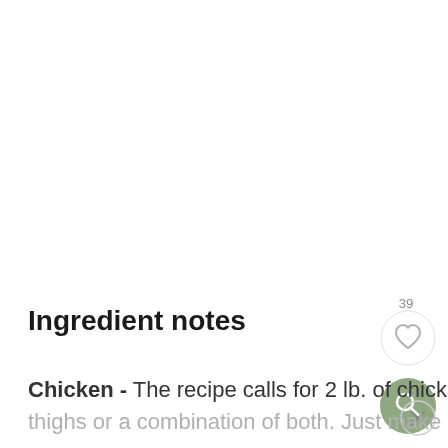Ingredient notes
Chicken - The recipe calls for 2 lb. of chicken, so feel free to use chicken breasts, thighs or a combination of both. Just make
[Figure (illustration): Heart/like button with count 39, a circular white button with heart icon outline. Below it a green circular search button with magnifying glass icon. Bottom right a circular close (X) button.]